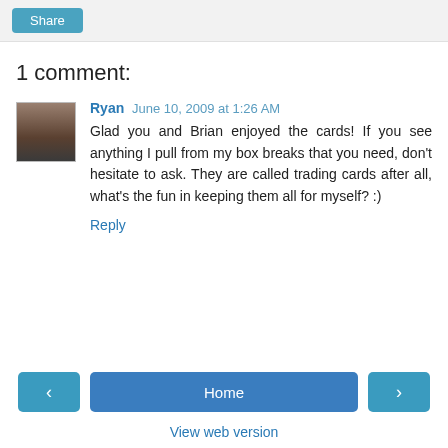Share
1 comment:
Ryan  June 10, 2009 at 1:26 AM
Glad you and Brian enjoyed the cards! If you see anything I pull from my box breaks that you need, don't hesitate to ask. They are called trading cards after all, what's the fun in keeping them all for myself? :)
Reply
‹  Home  ›  View web version